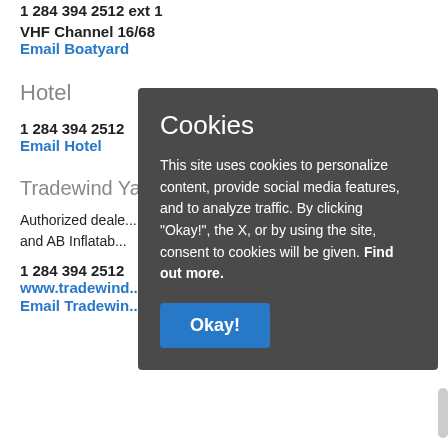1 284 394 2512 ext 1
VHF Channel 16/68
Email Boatyard
Hotel
1 284 394 2512
Email Hotel
Tradewind Ya...
Authorized deale... and AB Inflatab...
1 284 394 2512
www.tradewind...
Email Tradewin...
[Figure (screenshot): Cookie consent dialog box with dark gray background containing title 'Cookies', body text about cookie usage, a 'Find out more.' link, and an 'Okay!' blue button.]